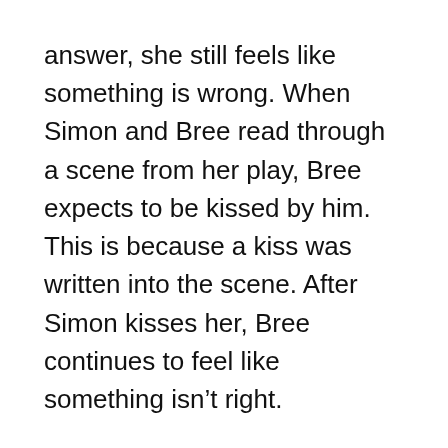answer, she still feels like something is wrong. When Simon and Bree read through a scene from her play, Bree expects to be kissed by him. This is because a kiss was written into the scene. After Simon kisses her, Bree continues to feel like something isn't right.
Jess's story: When David and Jess visit the Inn, they discover that the building is in worse shape than they thought. She asks Mick to help save her Inn. After contemplating every possibility, Mick reveals to Jess that there's no way that the Inn could be salvaged. Jess is upset by this because she feels that the Inn was the first thing that she could call her own. While still feeling bad about